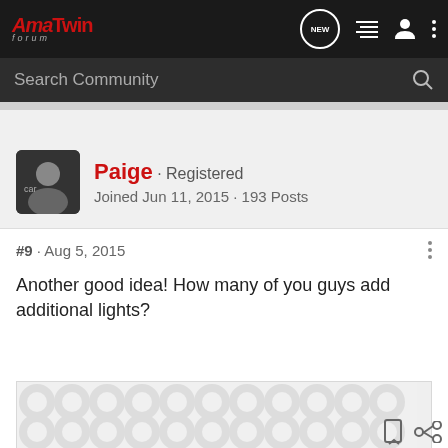AmaTwin Forum
Search Community
Paige · Registered
Joined Jun 11, 2015 · 193 Posts
#9 · Aug 5, 2015
Another good idea! How many of you guys add additional lights?
[Figure (other): Advertisement banner with decorative pattern of interlocking circles]